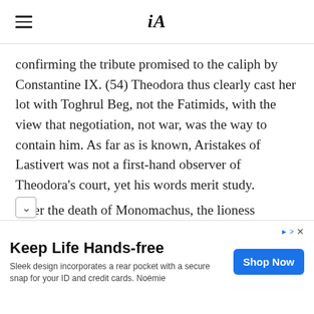iA (logo with hamburger menu)
confirming the tribute promised to the caliph by Constantine IX. (54) Theodora thus clearly cast her lot with Toghrul Beg, not the Fatimids, with the view that negotiation, not war, was the way to contain him. As far as is known, Aristakes of Lastivert was not a first-hand observer of Theodora’s court, yet his words merit study.
After the death of Monomachus, the lioness [Theodora] uttered within
Keep Life Hands-free
Sleek design incorporates a rear pocket with a secure snap for your ID and credit cards. Noémie
Shop Now